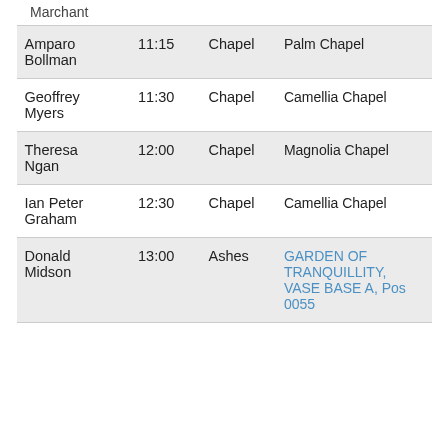Marchant
| Amparo Bollman | 11:15 | Chapel | Palm Chapel |
| Geoffrey Myers | 11:30 | Chapel | Camellia Chapel |
| Theresa Ngan | 12:00 | Chapel | Magnolia Chapel |
| Ian Peter Graham | 12:30 | Chapel | Camellia Chapel |
| Donald Midson | 13:00 | Ashes | GARDEN OF TRANQUILLITY, VASE BASE A, Pos 0055 |